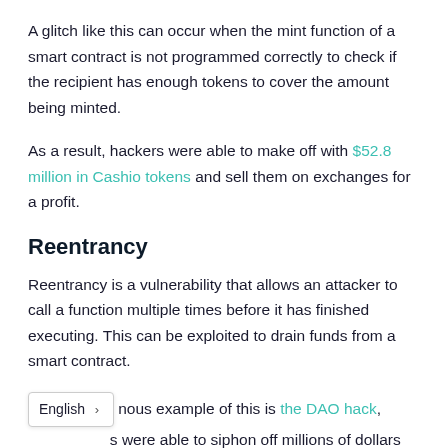A glitch like this can occur when the mint function of a smart contract is not programmed correctly to check if the recipient has enough tokens to cover the amount being minted.
As a result, hackers were able to make off with $52.8 million in Cashio tokens and sell them on exchanges for a profit.
Reentrancy
Reentrancy is a vulnerability that allows an attacker to call a function multiple times before it has finished executing. This can be exploited to drain funds from a smart contract.
The most famous example of this is the DAO hack, hackers were able to siphon off millions of dollars